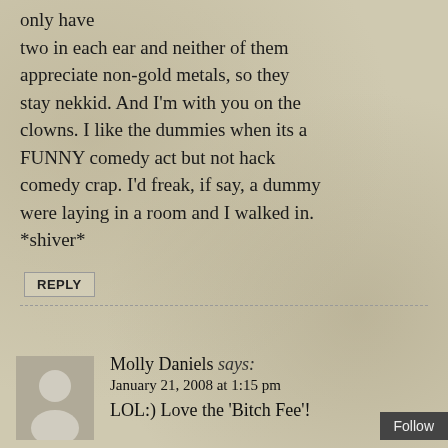only have two in each ear and neither of them appreciate non-gold metals, so they stay nekkid. And I'm with you on the clowns. I like the dummies when its a FUNNY comedy act but not hack comedy crap. I'd freak, if say, a dummy were laying in a room and I walked in. *shiver*
REPLY
Molly Daniels says:
January 21, 2008 at 1:15 pm
LOL:) Love the 'Bitch Fee'!